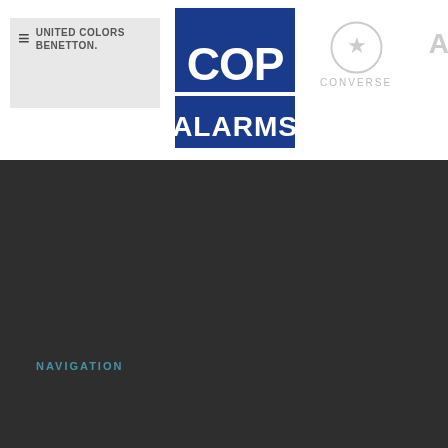[Figure (logo): United Colors of Benetton logo with hamburger menu icon on grey background]
[Figure (logo): COP Alarms logo - blue rectangle with white bold text COP on top and ALARMS on bottom]
[Figure (logo): Converse star circle logo with CONVERSE text below in light grey]
[Figure (logo): Partial logo visible at far right edge, light grey letters]
NAVIGATION
CONTACT INFO
PHONE
0333 433 0789
EMAIL